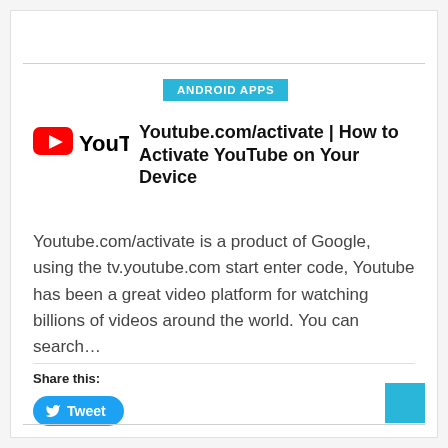ANDROID APPS
Youtube.com/activate | How to Activate YouTube on Your Device
Youtube.com/activate is a product of Google, using the tv.youtube.com start enter code, Youtube has been a great video platform for watching billions of videos around the world. You can search…
Share this:
Tweet